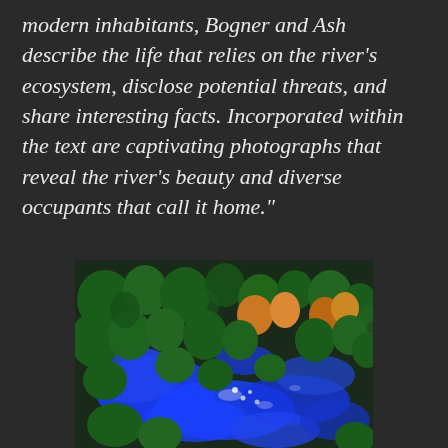modern inhabitants, Bogner and Ash describe the life that relies on the river's ecosystem, disclose potential threats, and share interesting facts. Incorporated within the text are captivating photographs that reveal the river's beauty and diverse occupants that call it home."
[Figure (photo): Aerial photograph of a river winding through dense forest vegetation with bright blue water visible, surrounded by green and autumn-colored trees viewed from above.]